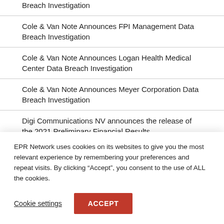Breach Investigation
Cole & Van Note Announces FPI Management Data Breach Investigation
Cole & Van Note Announces Logan Health Medical Center Data Breach Investigation
Cole & Van Note Announces Meyer Corporation Data Breach Investigation
Digi Communications NV announces the release of the 2021 Preliminary Financial Results
EPR Network uses cookies on its websites to give you the most relevant experience by remembering your preferences and repeat visits. By clicking “Accept”, you consent to the use of ALL the cookies.
Cookie settings
ACCEPT